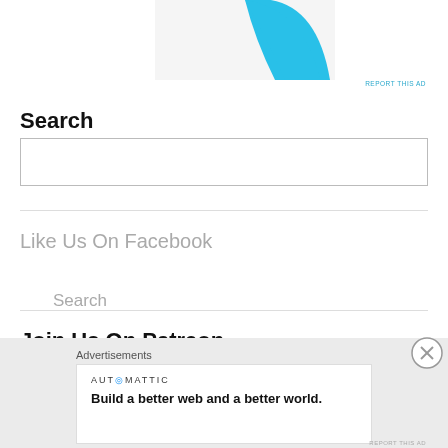[Figure (other): Partial advertisement image showing a cyan/blue curved shape on a light gray background with 'REPORT THIS AD' text]
Search
[Figure (other): Search input box with placeholder text 'Search']
Like Us On Facebook
Join Us On Patreon
[Figure (other): Bottom advertisement overlay: 'Advertisements' label above a white box showing Automattic logo and text 'Build a better web and a better world.']